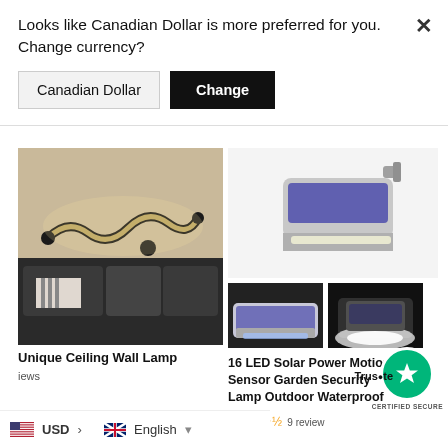Looks like Canadian Dollar is more preferred for you. Change currency?
Canadian Dollar
Change
[Figure (photo): Unique curved LED ceiling wall lamp mounted on wall above sofa]
Unique Ceiling Wall Lamp
reviews
[Figure (photo): 16 LED Solar Power Motion Sensor Garden Security Lamp main product photo and two thumbnail images]
16 LED Solar Power Motion Sensor Garden Security Lamp Outdoor Waterproof
9 reviews
USD
English
CERTIFIED SECURE